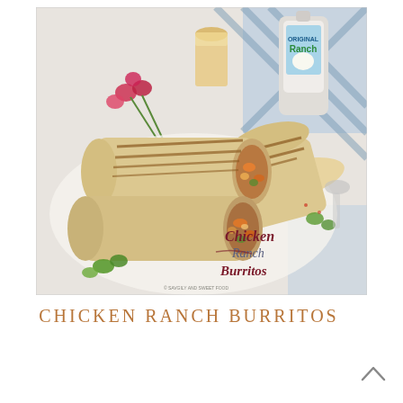[Figure (photo): A food photograph showing chicken ranch burritos cut in half and stacked, revealing the filling of chicken pieces, green peppers, and sauce inside flour tortillas with grill marks. A bottle of Original Ranch dressing is visible in the background along with pink flowers, a blue and white cloth, a glass of beer, and herb garnishes. Text overlay in the lower right reads 'Chicken Ranch Burritos' in a decorative script with a copyright mark '© Savgily and Sweet Food'.]
CHICKEN RANCH BURRITOS